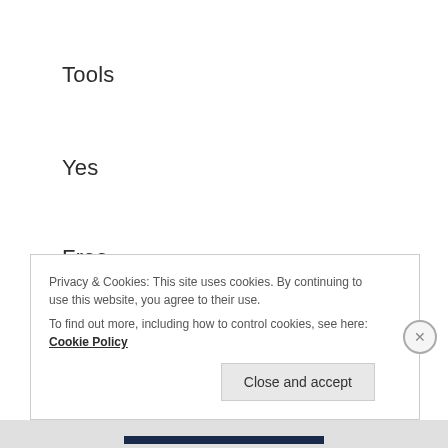Tools
Yes
Free
To
Sprout
WingS AGAiN
Privacy & Cookies: This site uses cookies. By continuing to use this website, you agree to their use.
To find out more, including how to control cookies, see here: Cookie Policy
Close and accept